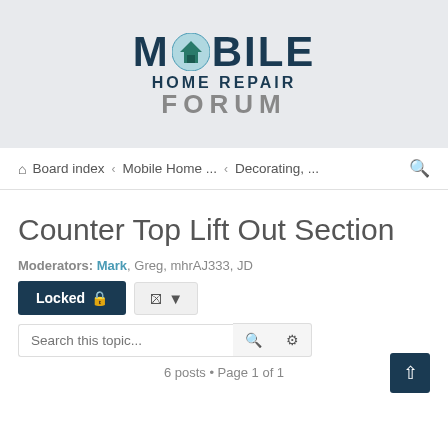[Figure (logo): Mobile Home Repair Forum logo with stylized house icon in the letter O]
Board index · Mobile Home ... · Decorating, ...
Counter Top Lift Out Section
Moderators: Mark, Greg, mhrAJ333, JD
Locked 🔒
Search this topic...
6 posts • Page 1 of 1